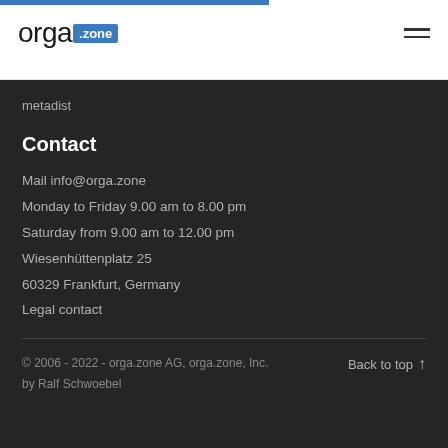[Figure (logo): orga.zone logo with 'orga' in dark text and '.zone' in a blue badge, plus hamburger menu icon on right]
metadist
Contact
Mail info@orga.zone
Monday to Friday 9.00 am to 8.00 pm
Saturday from 9.00 am to 12.00 pm
Wiesenhüttenplatz 25
60329 Frankfurt, Germany
Legal contact
© 2006 - 2022 - orga.zone AG, orga.zone, Inc.
by Ralf Schwoebel
Back to top ↑